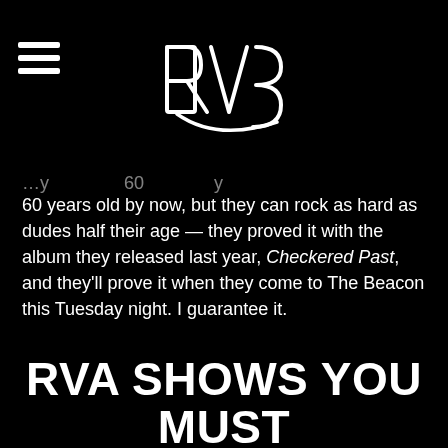RVS logo and hamburger menu
60 years old by now, but they can rock as hard as dudes half their age — they proved it with the album they released last year, Checkered Past, and they'll prove it when they come to The Beacon this Tuesday night. I guarantee it.
Email me if you've got any tips for me about upcoming shows (that take place after the week this column covers -- this week's column has obviously already been written): drew@gayrva.com
RVA SHOWS YOU MUST SEE THIS WEEK: JUNE 8 –